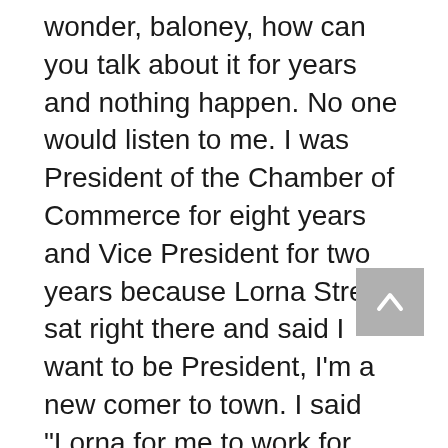wonder, baloney, how can you talk about it for years and nothing happen. No one would listen to me. I was President of the Chamber of Commerce for eight years and Vice President for two years because Lorna Street sat right there and said I want to be President, I'm a new comer to town. I said "Lorna for me to work for Seligman, I don't have to be President, I'll work just as hard being Vice President. We'll stack the cards and make you President." “So, we made her President. We talked about it, how we get the economy back but we were getting ready for Seligman’s 100th birthday. In 86 Seligman became 100 years (old) so it was shelved. So finally, that